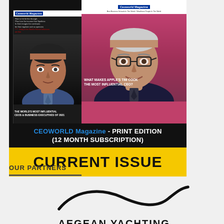[Figure (photo): CEOWORLD Magazine print edition advertisement showing two magazine covers side by side. Left cover features Elon Musk with text 'THE WORLD'S MOST INFLUENTIAL CEOs & BUSINESS EXECUTIVES OF 2021'. Right cover features Tim Cook with text 'WHAT MAKES APPLE'S TIM COOK THE MOST INFLUENTIAL CEO?'. Below the covers is text 'CEOWORLD Magazine - PRINT EDITION (12 MONTH SUBSCRIPTION)' followed by a yellow banner reading 'CURRENT ISSUE'.]
OUR PARTNERS
[Figure (logo): Aegean Yachting logo: a sweeping black curved swoosh line above the text 'AEGEAN YACHTING' in bold uppercase letters.]